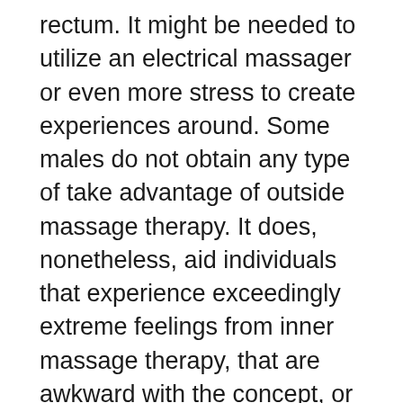rectum. It might be needed to utilize an electrical massager or even more stress to create experiences around. Some males do not obtain any type of take advantage of outside massage therapy. It does, nonetheless, aid individuals that experience exceedingly extreme feelings from inner massage therapy, that are awkward with the concept, or that locate inner massage therapy unpleasant. It can likewise be a great alternative for novices that aren't comfy with inner massage therapy at first.
It's additionally a great suggestion to ensure you have a defecation prior to obtaining prostate massage therapy. You might additionally want to have an injection if you are very bothered with tidiness. Usage lots of